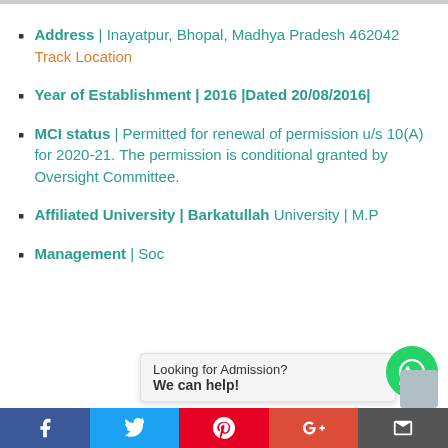Address | Inayatpur, Bhopal, Madhya Pradesh 462042 Track Location
Year of Establishment | 2016 |Dated 20/08/2016|
MCI status | Permitted for renewal of permission u/s 10(A) for 2020-21. The permission is conditional granted by Oversight Committee.
Affiliated University | Barkatullah University | M.P
Management | Soc...
Looking for Admission? We can help!
Facebook | Twitter | Pinterest | Google+ | Email